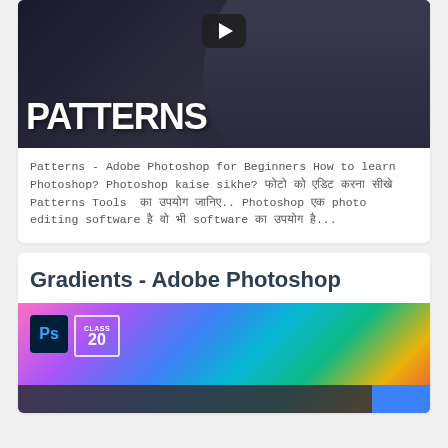[Figure (screenshot): Video thumbnail showing a man in a black t-shirt with glasses, with the word PATTERNS in large white bold text overlay and a play button]
Patterns - Adobe Photoshop for Beginners How to learn Photoshop? Photoshop kaise sikhe? फोटो को एडिट करना सीखे Patterns Tools  का उपयोग जानिए.. Photoshop एक photo editing software है वो भी software का उपयोग है...
Gradients - Adobe Photoshop
[Figure (screenshot): Video thumbnail with colorful gradient background (pink, purple, blue, cyan, green, yellow), Photoshop PS logo badge, CLASS 20 badge, a person visible in center, dark bottom bar with blue box on right]